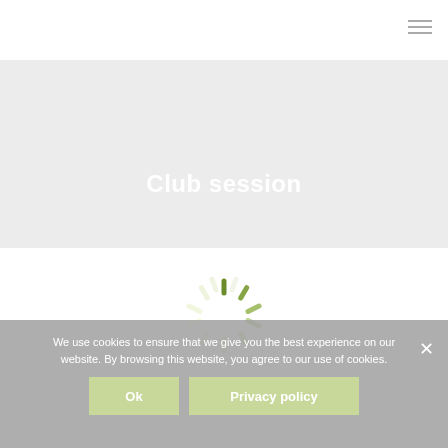[Figure (other): Hamburger menu icon (three horizontal lines) in top right corner of navigation bar]
Club session
[Figure (other): Green loading spinner animation (circular dashes in olive/lime green color)]
We use cookies to ensure that we give you the best experience on our website. By browsing this website, you agree to our use of cookies.
Ok
Privacy policy